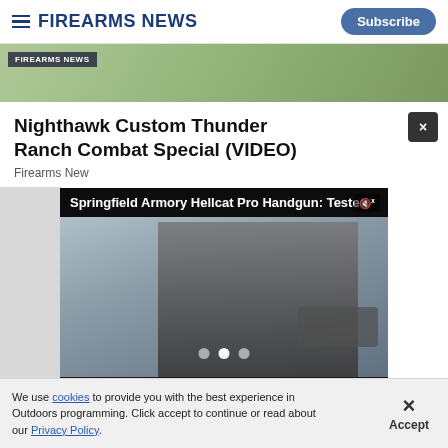Firearms News | Subscribe
[Figure (screenshot): Top image strip showing outdoor scene with person, with FIREARMS NEWS watermark overlay]
Nighthawk Custom Thunder Ranch Combat Special (VIDEO)
Firearms News
[Figure (screenshot): Video player showing Springfield Armory Hellcat Pro Handgun: Tested video with a man shooting a handgun outdoors. Controls show 00:00 / 04:26. Video player overlaps article content.]
We use cookies to provide you with the best experience in Outdoors programming. Click accept to continue or read about our Privacy Policy.